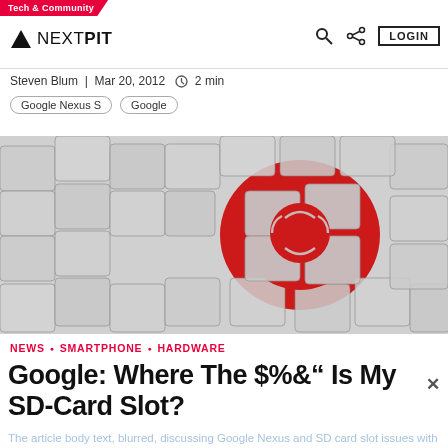Tech & Community
NEXTPIT
Steven Blum | Mar 20, 2012 ⏱ 2 min
Google Nexus S
Google
[Figure (photo): Puzzle pieces arranged in a circular pattern around a red center with a symbol, on a white/grey background]
NEWS • SMARTPHONE • HARDWARE
Google: Where The $%&" Is My SD-Card Slot?
The article body text (partially visible, blurred) discussing something related to Google Nexus and SD card slot